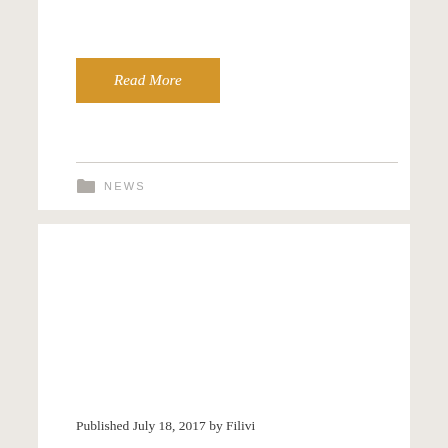Read More
NEWS
Published July 18, 2017 by Filivi